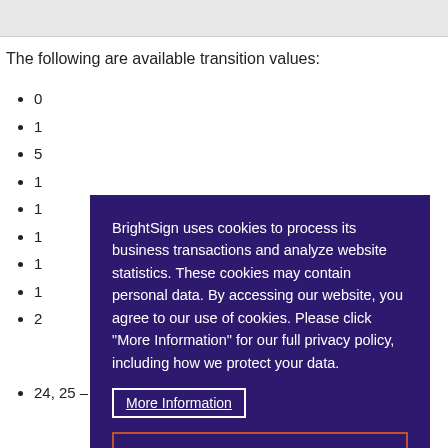The following are available transition values:
0
1
5
1
1
1
1
1
2
BrightSign uses cookies to process its business transactions and analyze website statistics. These cookies may contain personal data. By accessing our website, you agree to our use of cookies. Please click “More Information” for our full privacy policy, including how we protect your data.
More Information
Continue to this Site
24, 25 – Scales old image in, then the new one out